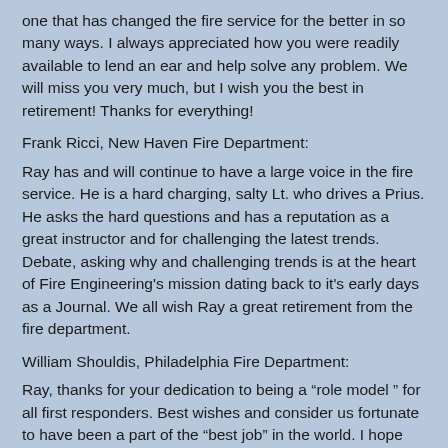one that has changed the fire service for the better in so many ways. I always appreciated how you were readily available to lend an ear and help solve any problem. We will miss you very much, but I wish you the best in retirement! Thanks for everything!
Frank Ricci, New Haven Fire Department:
Ray has and will continue to have a large voice in the fire service. He is a hard charging, salty Lt. who drives a Prius. He asks the hard questions and has a reputation as a great instructor and for challenging the latest trends. Debate, asking why and challenging trends is at the heart of Fire Engineering's mission dating back to it's early days as a Journal. We all wish Ray a great retirement from the fire department.
William Shouldis, Philadelphia Fire Department:
Ray, thanks for your dedication to being a “role model ” for all first responders. Best wishes and consider us fortunate to have been a part of the “best job” in the world. I hope you will find great satisfaction in sharing your experience with the next generation of firefighters.